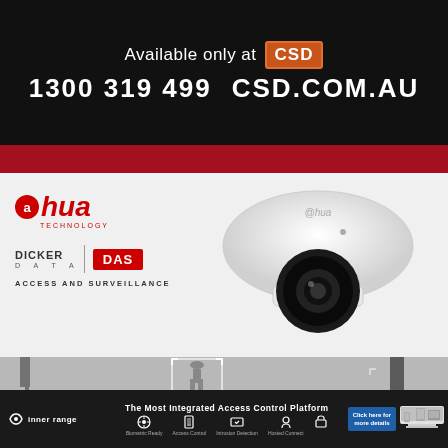[Figure (infographic): Black banner with 'Available only at CSD' text and phone number 1300 319 499 and CSD.COM.AU]
[Figure (infographic): Dahua Technology dome camera advertisement with Dicker Data DAS Access and Surveillance branding]
[Figure (photo): Overhead surveillance/security camera footage showing person being tracked with detection rectangle]
[Figure (infographic): Inner Range advertisement banner: The Most Integrated Access Control Platform with feature icons]